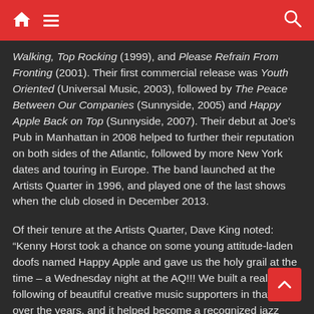Navigation bar with home, menu, and search icons
Walking, Top Rocking (1999), and Please Refrain From Fronting (2001). Their first commercial release was Youth Oriented (Universal Music, 2003), followed by The Peace Between Our Companies (Sunnyside, 2005) and Happy Apple Back on Top (Sunnyside, 2007). Their debut at Joe's Pub in Manhattan in 2008 helped to further their reputation on both sides of the Atlantic, followed by more New York dates and touring in Europe. The band launched at the Artists Quarter in 1996, and played one of the last shows when the club closed in December 2013.
Of their tenure at the Artists Quarter, Dave King noted: “Kenny Horst took a chance on some young attitude-laden doofs named Happy Apple and gave us the holy grail at the time – a Wednesday night at the AQ!!! We built a real following of beautiful creative music supporters in that room over the years, and it helped become a recognized jazz group on the international stage. Incredible that it started from a feeling of being included in a